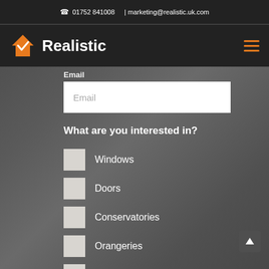☎ 01752 841008 | marketing@realistic.uk.com
[Figure (logo): Realistic logo — orange house with checkmark and white bold text 'Realistic', hamburger menu icon on the right]
Email
Email (input placeholder)
What are you interested in?
Windows
Doors
Conservatories
Orangeries
Warm Roof